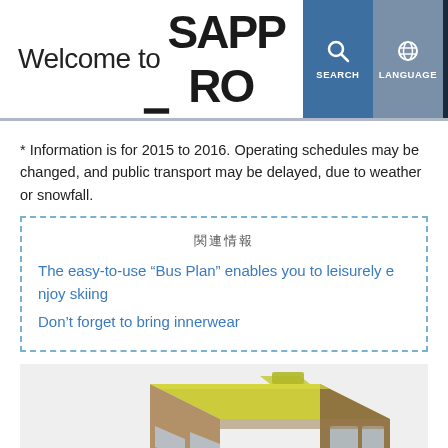Welcome to SAPPORO
* Information is for 2015 to 2016. Operating schedules may be changed, and public transport may be delayed, due to weather or snowfall.
The easy-to-use “Bus Plan” enables you to leisurely enjoy skiing
Don’t forget to bring innerwear
[Figure (illustration): Illustration of a yellow-green and brown bus, shown in isometric/3D perspective view.]